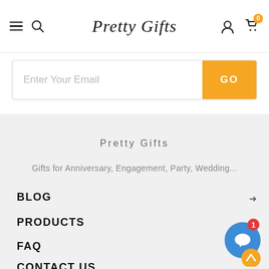Pretty Gifts — navigation header with hamburger menu, search, account, and cart icons
Enter Your Email
GO
Pretty Gifts
Gifts for Anniversary, Engagement, Party, Wedding...
BLOG
PRODUCTS
FAQ
CONTACT US
[Figure (other): Chat widget with blue circle, white chat bubble, red notification badge showing 1, and orange scroll-to-top button]